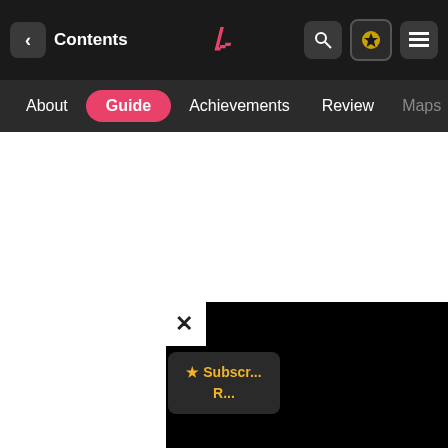< Contents | [Logo] | [Search] [Star] [Menu]
About  Guide  Achievements  Review  Maps
[Figure (screenshot): Advertisement area (white space)]
[Figure (screenshot): Popup overlay with close button (X), subscribe button with star icon showing '★ Subscr... R...' text, and black ad box on the right]
On the lower difficulties much impact, it's more harder difficulties you'll want to specialize. The three main builds are Strength, Runic and Spartan Rage and these can be customized even further with